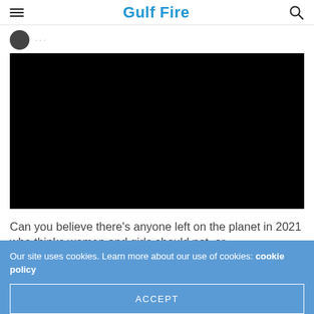Gulf Fire
[Figure (other): Author avatar icon (dark circle) with light author metadata text beside it]
[Figure (other): Black video player embed block]
Can you believe there’s anyone left on the planet in 2021 who thinks women and girls should not, or
Our site uses cookies. Learn more about our use of cookies: cookie policy
ACCEPT